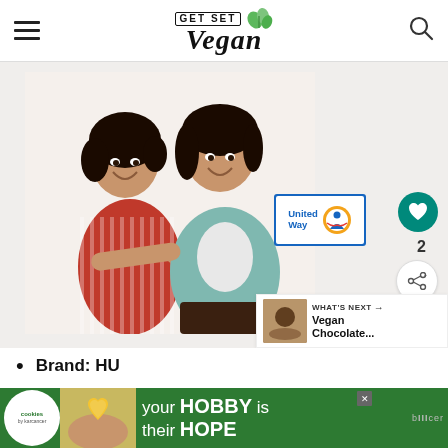GET SET Vegan
[Figure (photo): Two Asian women smiling and holding hands/arms outstretched together, one in red striped top and one in teal cardigan, on white background]
[Figure (logo): United Way logo badge - blue rectangle with United Way text and circular charity emblem]
[Figure (infographic): What's Next panel showing thumbnail of vegan chocolate item with label 'Vegan Chocolate...']
Brand: HU
Quantity: 8 Chocolate Bars
[Figure (screenshot): Advertisement banner: 'cookies by karcancer' logo with heart-shaped cookie, text 'your HOBBY is their HOPE' on green background]